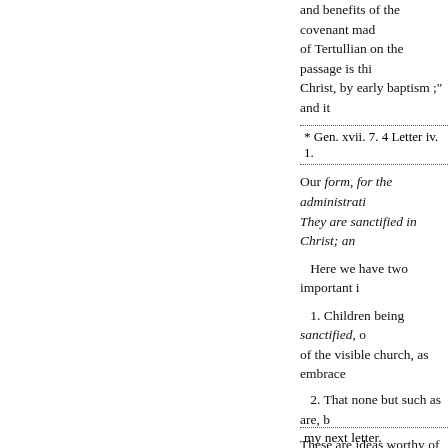and benefits of the covenant made of Tertullian on the passage is this Christ, by early baptism ;" and it
* Gen. xvii. 7. 4 Letter iv. 1.
Our form, for the administrati They are sanctified in Christ; and
Here we have two important i
1. Children being sanctified, o of the visible church, as embrace
2. That none but such as are, b
These are ideas worthy of your s by us, when we administer baptis among us, who are unwilling to a the subject, openly and unhesitat baptized. Now, if the parent be n child be not a member, how can t
But more of this hereafter. We ar that it is the will of God that the s to spend our time in enquiring w doctrine of infant baptism will b
my next letter.